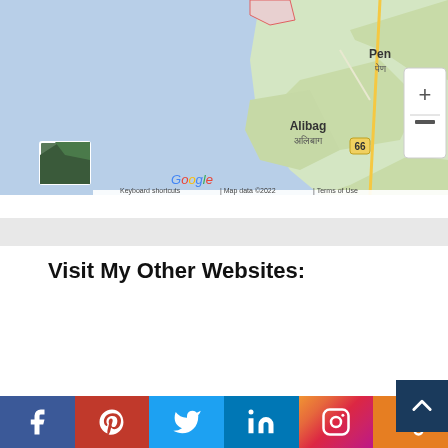[Figure (map): Google Maps screenshot showing Alibag (अलिबाग) and Pen (पेण) area in Maharashtra, India. Map shows coastal region with blue water on left, road network, zoom controls (+/-) on top right, a satellite thumbnail on bottom left, Google logo, and footer text: Keyboard shortcuts | Map data ©2022 | Terms of Use]
Visit My Other Websites:
Reiki Amazes
Advantage Affiliates